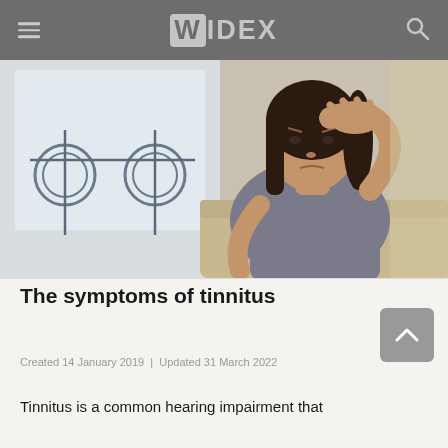WIDEX
[Figure (photo): Woman with dark hair holding hand to forehead looking distressed, seated near a window with decorative ironwork, suggesting headache or tinnitus symptoms]
The symptoms of tinnitus
Created 14 January 2019  |  Updated 31 March 2022
Tinnitus is a common hearing impairment that